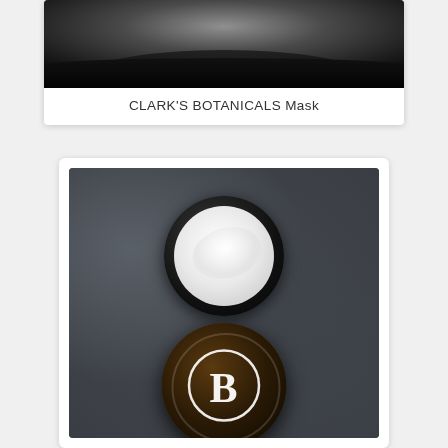[Figure (photo): Product photo of Clark's Botanicals Mask - dark textured background with circular lid/top portion visible]
CLARK'S BOTANICALS Mask
[Figure (photo): Product photo of Clark's Botanicals Mask jar opened from above on dark slate background, showing white cream inside and lid with B logo]